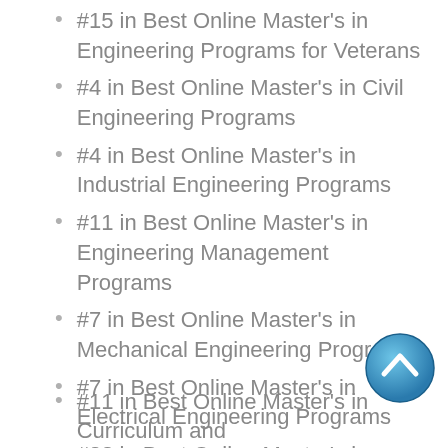#15 in Best Online Master's in Engineering Programs for Veterans
#4 in Best Online Master's in Civil Engineering Programs
#4 in Best Online Master's in Industrial Engineering Programs
#11 in Best Online Master's in Engineering Management Programs
#7 in Best Online Master's in Mechanical Engineering Programs
#7 in Best Online Master's in Electrical Engineering Programs
#23 in Best Online Master's in Education Programs
#11 in Best Online Master's in Curriculum and